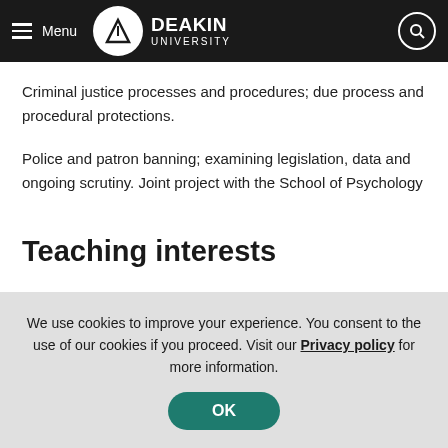Deakin University
Criminal justice processes and procedures; due process and procedural protections.
Police and patron banning; examining legislation, data and ongoing scrutiny. Joint project with the School of Psychology
Teaching interests
We use cookies to improve your experience. You consent to the use of our cookies if you proceed. Visit our Privacy policy for more information.